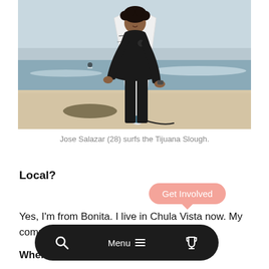[Figure (photo): A surfer in a black wetsuit holding a white surfboard on a beach, smiling at the camera. Ocean waves visible in the background.]
Jose Salazar (28) surfs the Tijuana Slough.
Local?
Yes, I'm from Bonita. I live in Chula Vista now. My commute [to ... ] inutes.
When did you take up surfing?